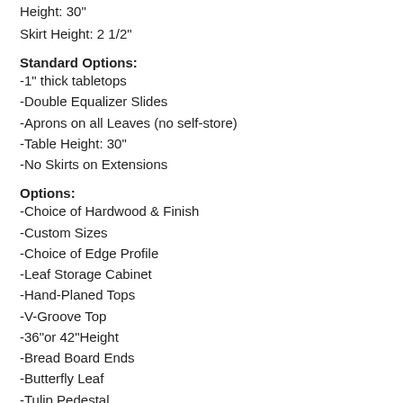Height: 30"
Skirt Height: 2 1/2"
Standard Options:
-1" thick tabletops
-Double Equalizer Slides
-Aprons on all Leaves (no self-store)
-Table Height: 30"
-No Skirts on Extensions
Options:
-Choice of Hardwood & Finish
-Custom Sizes
-Choice of Edge Profile
-Leaf Storage Cabinet
-Hand-Planed Tops
-V-Groove Top
-36"or 42"Height
-Bread Board Ends
-Butterfly Leaf
-Tulip Pedestal
-Add Skirts on Extensions